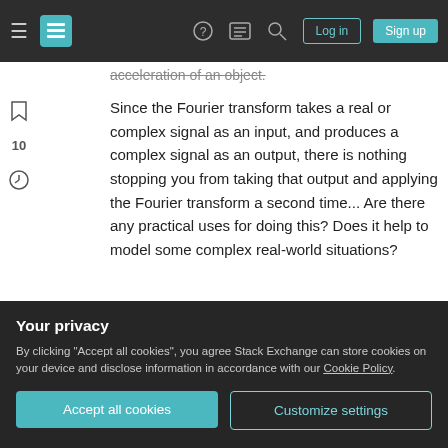Stack Exchange navigation bar with hamburger menu, logo, help, chat, search, Log in, Sign up buttons
acceleration of an object.
Since the Fourier transform takes a real or complex signal as an input, and produces a complex signal as an output, there is nothing stopping you from taking that output and applying the Fourier transform a second time... Are there any practical uses for doing this? Does it help to model some complex real-world situations?
With the same logic, nothing would stop you from taking the inverse Fourier transform of your original
Your privacy
By clicking "Accept all cookies", you agree Stack Exchange can store cookies on your device and disclose information in accordance with our Cookie Policy.
Accept all cookies
Customize settings